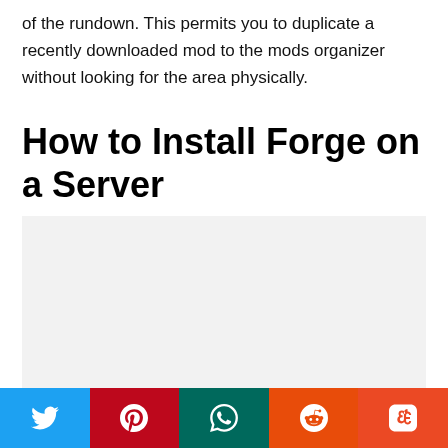of the rundown. This permits you to duplicate a recently downloaded mod to the mods organizer without looking for the area physically.
How to Install Forge on a Server
[Figure (other): Light gray placeholder image box for a screenshot or illustration]
Social sharing bar: Twitter, Pinterest, WhatsApp, Reddit, StumbleUpon